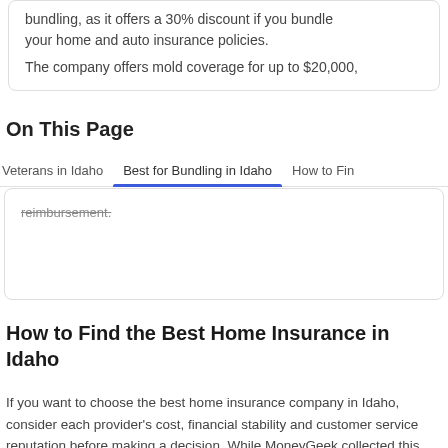bundling, as it offers a 30% discount if you bundle your home and auto insurance policies.
The company offers mold coverage for up to $20,000,
On This Page
Veterans in Idaho
Best for Bundling in Idaho
How to Fin
reimbursement.
How to Find the Best Home Insurance in Idaho
If you want to choose the best home insurance company in Idaho, consider each provider's cost, financial stability and customer service reputation before making a decision. While MoneyGeek collected this information, performing your own